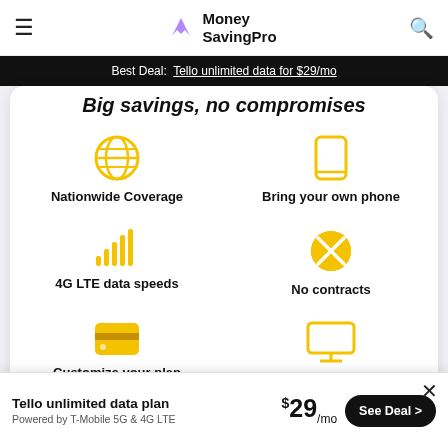MoneySavingPro
Best Deal: Tello unlimited data for $29/mo
Big savings, no compromises
Nationwide Coverage
Bring your own phone
4G LTE data speeds
No contracts
Customize your plan
Buy online
Same coverage, massive savings!
Tello unlimited data plan
Powered by T-Mobile 5G & 4G LTE
$29/mo
See Deal >